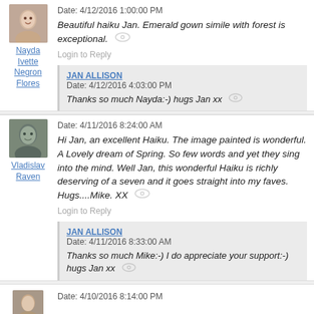Date: 4/12/2016 1:00:00 PM
Beautiful haiku Jan. Emerald gown simile with forest is exceptional.
Login to Reply
JAN ALLISON
Date: 4/12/2016 4:03:00 PM
Thanks so much Nayda:-) hugs Jan xx
Nayda Ivette Negron Flores
Date: 4/11/2016 8:24:00 AM
Hi Jan, an excellent Haiku. The image painted is wonderful. A Lovely dream of Spring. So few words and yet they sing into the mind. Well Jan, this wonderful Haiku is richly deserving of a seven and it goes straight into my faves. Hugs....Mike. XX
Login to Reply
JAN ALLISON
Date: 4/11/2016 8:33:00 AM
Thanks so much Mike:-) I do appreciate your support:-) hugs Jan xx
Vladislav Raven
Date: 4/10/2016 8:14:00 PM